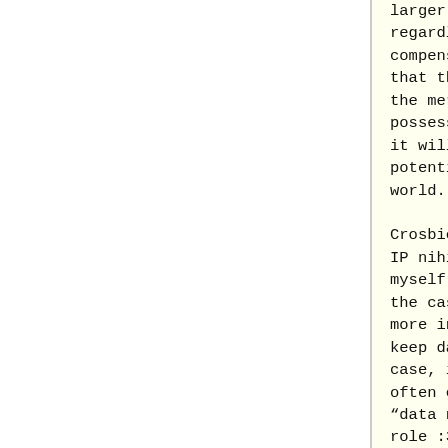larger audience, regardless of what compensation was involved, that that data now lay at the mercy of it's new possessors as to whether it will be rebroadcast potentially to the whole world.
Crosbie's concern against IP nihilists such as myself lay primarily with the case of where one or more individuals wish to keep data secret. In this case, if a bad actor (I often cast a fictional “data ninja” into this role :3 ) eavesdrops on this data, that is where my view and Crosbie's view begin to di...